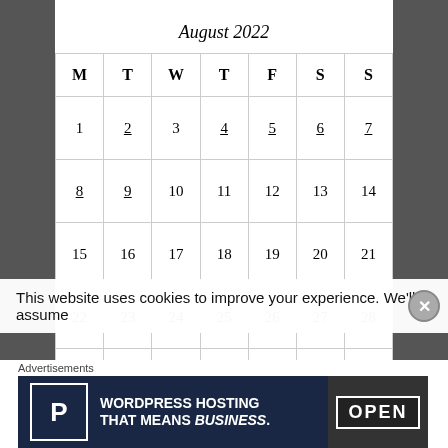August 2022
| M | T | W | T | F | S | S |
| --- | --- | --- | --- | --- | --- | --- |
| 1 | 2 | 3 | 4 | 5 | 6 | 7 |
| 8 | 9 | 10 | 11 | 12 | 13 | 14 |
| 15 | 16 | 17 | 18 | 19 | 20 | 21 |
| 22 | 23 | 24 | 25 | 26 | 27 | 28 |
| 29 | 30 | 31 |  |  |  |  |
« Jul
This website uses cookies to improve your experience. We'll assume
Advertisements
WORDPRESS HOSTING THAT MEANS BUSINESS.